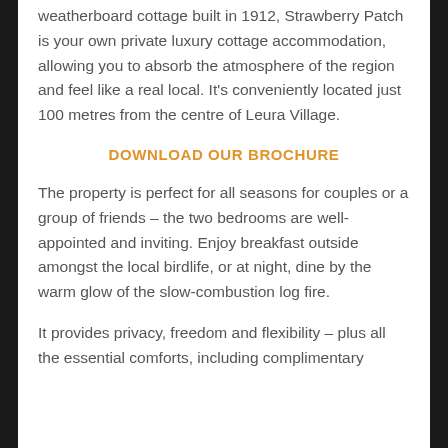weatherboard cottage built in 1912, Strawberry Patch is your own private luxury cottage accommodation, allowing you to absorb the atmosphere of the region and feel like a real local. It's conveniently located just 100 metres from the centre of Leura Village.
DOWNLOAD OUR BROCHURE
The property is perfect for all seasons for couples or a group of friends – the two bedrooms are well-appointed and inviting. Enjoy breakfast outside amongst the local birdlife, or at night, dine by the warm glow of the slow-combustion log fire.
It provides privacy, freedom and flexibility – plus all the essential comforts, including complimentary